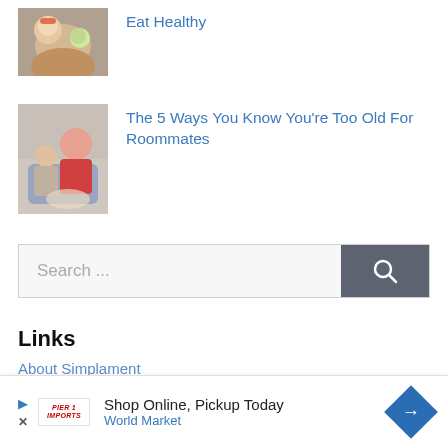[Figure (photo): Child eating from a bowl]
Eat Healthy
[Figure (photo): Two people on a couch with popcorn]
The 5 Ways You Know You're Too Old For Roommates
Search ...
Links
About Simplament
Shop Online, Pickup Today World Market